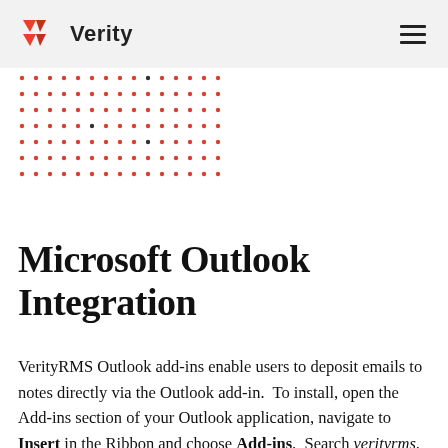Verity
[Figure (illustration): Decorative red dot grid pattern in upper left area below header]
Microsoft Outlook Integration
VerityRMS Outlook add-ins enable users to deposit emails to notes directly via the Outlook add-in.  To install, open the Add-ins section of your Outlook application, navigate to Insert in the Ribbon and choose Add-ins.  Search verityrms.  Once installed,